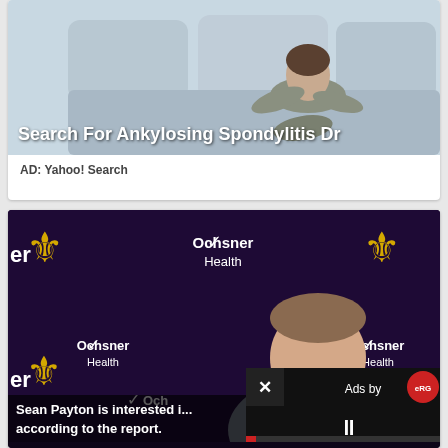[Figure (photo): Advertisement card showing a person sitting on a couch holding their back/stomach, with text overlay 'Search For Ankylosing Spondylitis Dr']
AD: Yahoo! Search
[Figure (screenshot): Video player screenshot showing a man (Sean Payton) at a press conference podium with New Orleans Saints and Ochsner Health branding in the background. An ad overlay is visible in the bottom right corner with an X close button and 'Ads by' label with a red ERG badge. A pause button is visible. Subtitle text reads: 'Sean Payton is interested i... according to the report.']